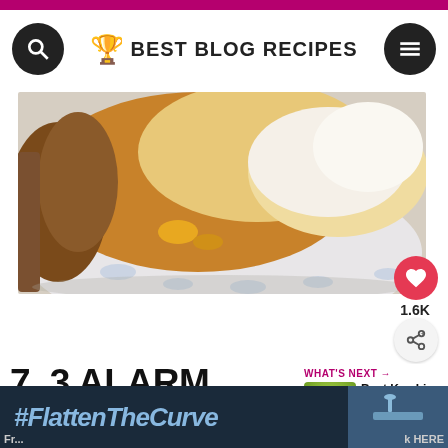BEST BLOG RECIPES
[Figure (photo): Close-up photo of cheesy monkey bread on a decorative blue and white floral plate, bread pieces showing golden-brown exterior and soft white interior with melted cheese]
7. 3 ALARM CHEESY ONION MONKEY BREAD
WHAT'S NEXT → Best Key Lime Dessert...
[Figure (photo): Small thumbnail image of a green key lime dessert]
#FlattenTheCurve
Fr... k HERE